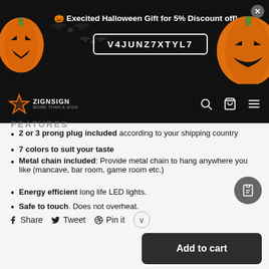[Figure (screenshot): Halloween promotional banner with black background, orange pumpkin icons, bat silhouettes, bold white headline '🎃 Execited Halloween Gift for 5% Discount off!' and coupon code box 'V4JUNZ7XTYL7', with close X button top-right]
[Figure (screenshot): Black navigation bar with ZignSign star logo on left and search, cart, hamburger menu icons on right]
FEATURES (partially visible)
2 or 3 prong plug included according to your shipping country
7 colors to suit your taste
Metal chain included: Provide metal chain to hang anywhere you like (mancave, bar room, game room etc.)
Energy efficient long life LED lights.
Safe to touch. Does not overheat.
Share  Tweet  Pin it
Add to cart